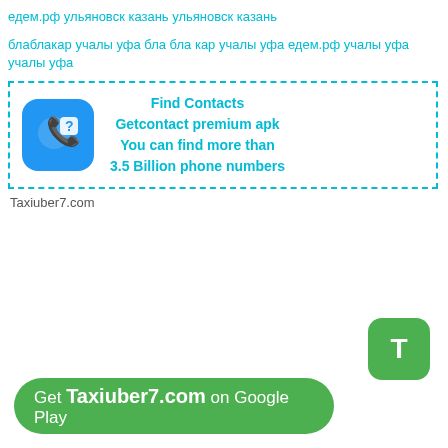едем.рф ульяновск казань ульяновск казань
блаблакар учалы уфа бла бла кар учалы уфа едем.рф учалы уфа учалы уфа
[Figure (infographic): Advertisement box with dashed teal border. Blue rounded square icon with phone and question mark. Text: Find Contacts, Getcontact premium apk, You can find more than 3.5 Billion phone numbers]
Taxiuber7.com
[Figure (infographic): Green rounded square button with letter T in white]
Get Taxiuber7.com on Google Play